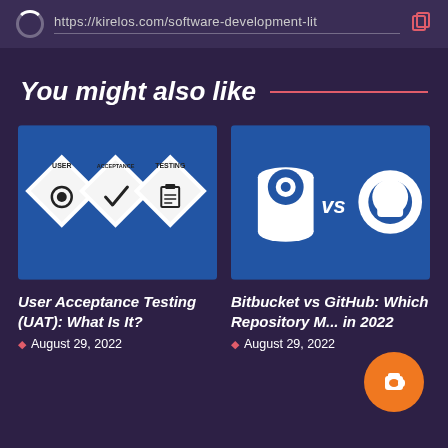https://kirelos.com/software-development-lit
You might also like
[Figure (illustration): Blue card with USER ACCEPTANCE TESTING diamond shapes with gear, checkmark, and clipboard icons]
User Acceptance Testing (UAT): What Is It?
August 29, 2022
[Figure (illustration): Blue card showing Bitbucket logo vs GitHub logo]
Bitbucket vs GitHub: Which Repository M... in 2022
August 29, 2022